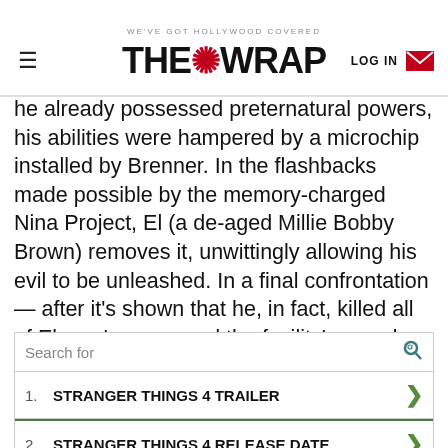WE'VE GOT HOLLYWOOD COVERED | THE WRAP | LOG IN
he already possessed preternatural powers, his abilities were hampered by a microchip installed by Brenner. In the flashbacks made possible by the memory-charged Nina Project, El (a de-aged Millie Bobby Brown) removes it, unwittingly allowing his evil to be unleashed. In a final confrontation — after it's shown that he, in fact, killed all of Eleven's peers and the facility's guards — El banishes him with her powers, as well as inadvertently creates Vecna and the original Upside Down rift.
Search for
1. STRANGER THINGS 4 TRAILER
2. STRANGER THINGS 4 RELEASE DATE